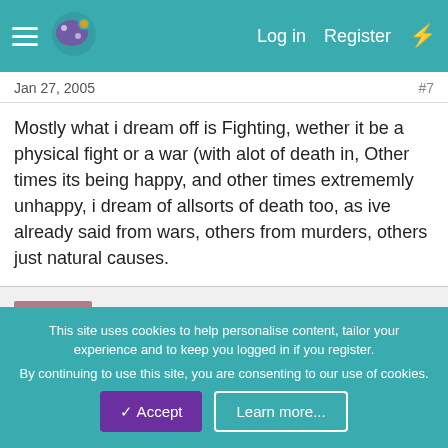Log in  Register
Jan 27, 2005  #7
Mostly what i dream off is Fighting, wether it be a physical fight or a war (with alot of death in, Other times its being happy, and other times extrememly unhappy, i dream of allsorts of death too, as ive already said from wars, others from murders, others just natural causes.
Princess_Dark_Angel
Feb 4, 2005  #8
In my dreams (I have the same one nearly every night!) I always see my throat getting slit by one of my dad's old friends. I'v
This site uses cookies to help personalise content, tailor your experience and to keep you logged in if you register.
By continuing to use this site, you are consenting to our use of cookies.